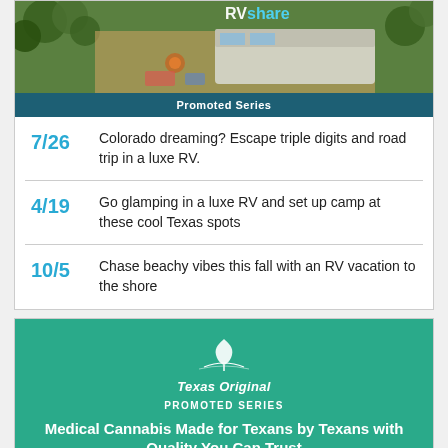[Figure (photo): RVshare promotional image showing an RV at a campsite from aerial view with trees and campfire]
Promoted Series
7/26  Colorado dreaming? Escape triple digits and road trip in a luxe RV.
4/19  Go glamping in a luxe RV and set up camp at these cool Texas spots
10/5  Chase beachy vibes this fall with an RV vacation to the shore
[Figure (logo): Texas Original logo with leaf/plant icon]
PROMOTED SERIES
Medical Cannabis Made for Texans by Texans with Quality You Can Trust
Texas DPS License No. 2005...